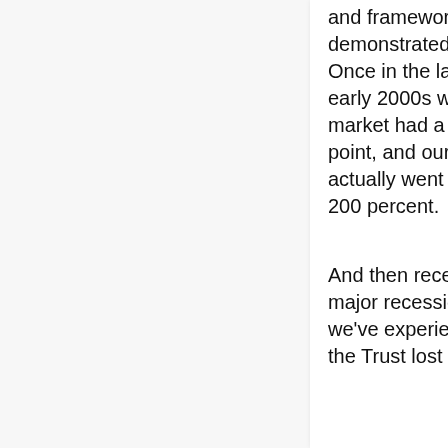and framework has been demonstrated two times. Once in the late '90s and early 2000s when the market had a decided low point, and our reserve actually went just below 200 percent.
And then recently, in the major recession that we've experienced where the Trust lost nearly a